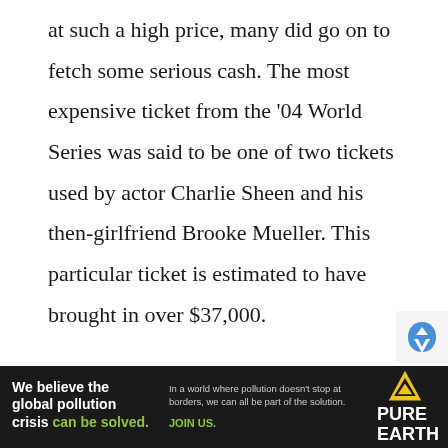at such a high price, many did go on to fetch some serious cash. The most expensive ticket from the '04 World Series was said to be one of two tickets used by actor Charlie Sheen and his then-girlfriend Brooke Mueller. This particular ticket is estimated to have brought in over $37,000.

The face value of a ticket for this game ranged from $100 to $150, which was still expensive considering that it had been 86 years since the Red Sox were last...
[Figure (infographic): Advertisement banner for Pure Earth: 'We believe the global pollution crisis can be solved.' with tagline about world pollution and JOIN US call to action, with Pure Earth logo and triangle icon.]